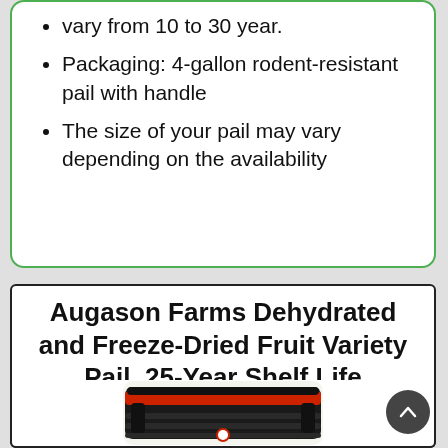vary from 10 to 30 year.
Packaging: 4-gallon rodent-resistant pail with handle
The size of your pail may vary depending on the availability
Augason Farms Dehydrated and Freeze-Dried Fruit Variety Pail, 25-Year Shelf Life
[Figure (photo): Top view of a black and red rodent-resistant pail with handle]